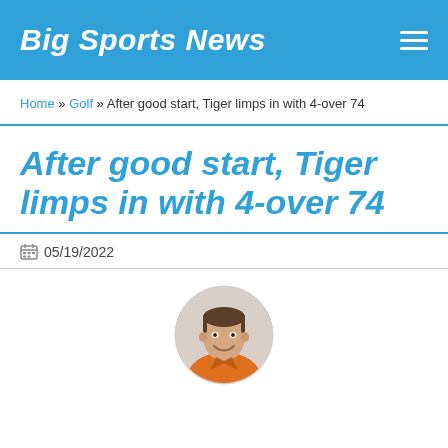Big Sports News
Home » Golf » After good start, Tiger limps in with 4-over 74
After good start, Tiger limps in with 4-over 74
05/19/2022
[Figure (photo): Headshot of a man wearing an orange polo shirt, smiling, circular crop]